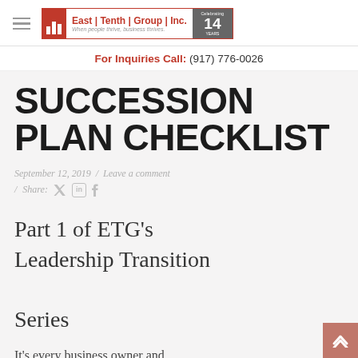East | Tenth | Group | Inc. — When people thrive, business thrives. — Celebrating 14 Years
For Inquiries Call: (917) 776-0026
SUCCESSION PLAN CHECKLIST
September 12, 2019  /  Leave a comment  /  Share:
Part 1 of ETG's Leadership Transition Series
It's every business owner and